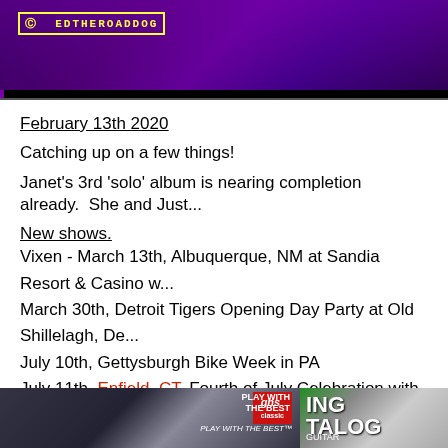[Figure (photo): Concert photo with purple stage lighting, watermark EDTHEROADOG in yellow]
February 13th 2020
Catching up on a few things!
Janet's 3rd 'solo' album is nearing completion already.  She and Just...
New shows.
Vixen - March 13th, Albuquerque, NM at Sandia Resort & Casino w...
March 30th, Detroit Tigers Opening Day Party at Old Shillelagh, De...
July 10th, Gettysburgh Bike Week in PA
July 11th, Enfield, CT, Fourth of July Celebration with Slaughter an...
November 15th, Mohegan Sun, Uncasville, CT.
Janet - 80's In The Sand, October 25th - 30th at Playa Mujeres, Mex...
Brittany was at NAMM 2020.
[Figure (photo): Woman with guitar at GHS strings display with 'Play With The Best' text]
[Figure (photo): Catalog or book cover with text ING TALOG GUITAR]